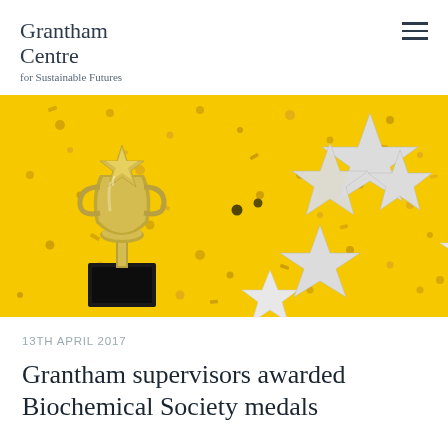Grantham Centre for Sustainable Futures
[Figure (photo): Award trophy with star shape on top sitting on a yellow background with scattered white star confetti and gold dot confetti]
13TH APRIL 2017
Grantham supervisors awarded Biochemical Society medals